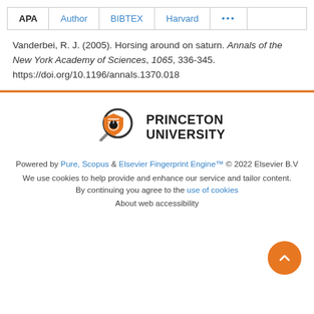APA  Author  BIBTEX  Harvard  ...
Vanderbei, R. J. (2005). Horsing around on saturn. Annals of the New York Academy of Sciences, 1065, 336-345. https://doi.org/10.1196/annals.1370.018
[Figure (logo): Princeton University logo with magnifying glass and shield icon, followed by text PRINCETON UNIVERSITY]
Powered by Pure, Scopus & Elsevier Fingerprint Engine™ © 2022 Elsevier B.V
We use cookies to help provide and enhance our service and tailor content. By continuing you agree to the use of cookies
About web accessibility